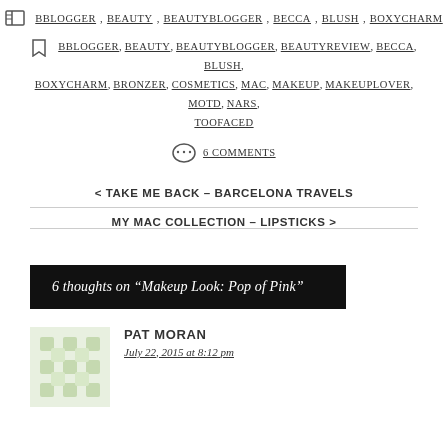BBLOGGER, BEAUTY, BEAUTYBLOGGER, BECCA, BLUSH, BOXYCHARM
BBLOGGER, BEAUTY, BEAUTYBLOGGER, BEAUTYREVIEW, BECCA, BLUSH, BOXYCHARM, BRONZER, COSMETICS, MAC, MAKEUP, MAKEUPLOVER, MOTD, NARS, TOOFACED
6 COMMENTS
< TAKE ME BACK – BARCELONA TRAVELS
MY MAC COLLECTION – LIPSTICKS >
6 thoughts on "Makeup Look: Pop of Pink"
PAT MORAN
July 22, 2015 at 8:12 pm